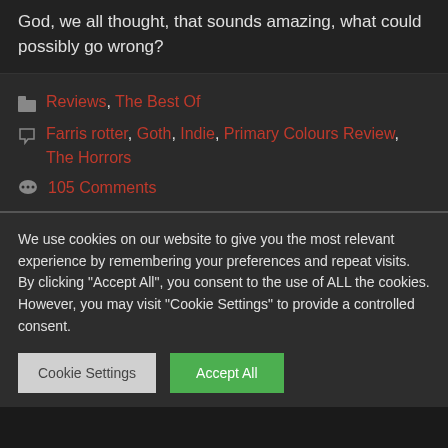God, we all thought, that sounds amazing, what could possibly go wrong?
Reviews, The Best Of
Farris rotter, Goth, Indie, Primary Colours Review, The Horrors
105 Comments
We use cookies on our website to give you the most relevant experience by remembering your preferences and repeat visits. By clicking "Accept All", you consent to the use of ALL the cookies. However, you may visit "Cookie Settings" to provide a controlled consent.
Cookie Settings | Accept All